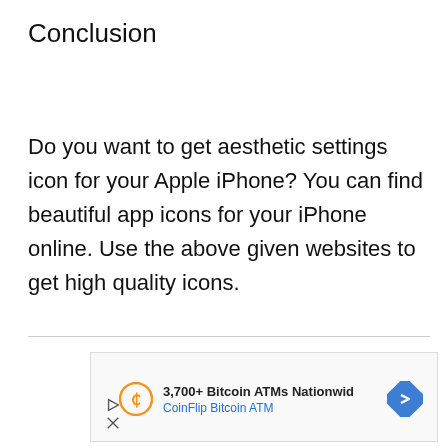Conclusion
Do you want to get aesthetic settings icon for your Apple iPhone? You can find beautiful app icons for your iPhone online. Use the above given websites to get high quality icons.
[Figure (other): Advertisement banner for CoinFlip Bitcoin ATM showing logo, text '3,700+ Bitcoin ATMs Nationwid' and 'CoinFlip Bitcoin ATM', with a blue diamond arrow icon on the right, and ad controls (play and close icons) on the lower left.]